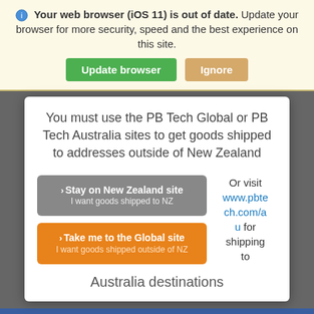Your web browser (iOS 11) is out of date. Update your browser for more security, speed and the best experience on this site.
[Figure (screenshot): Two buttons: green 'Update browser' and tan/gold 'Ignore']
You must use the PB Tech Global or PB Tech Australia sites to get goods shipped to addresses outside of New Zealand
> Stay on New Zealand site
I want goods shipped to NZ
Or visit www.pbtech.com/au for shipping to
>Take me to the Global site
I want goods shipped outside of NZ
Australia destinations
8GB+128GB - Black (Wall Charger & Headset sold separately) - 2 Year Warranty